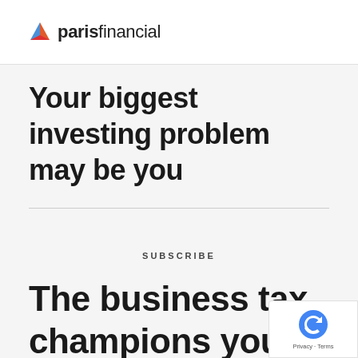paris financial
Your biggest investing problem may be you
SUBSCRIBE
The business tax champions you